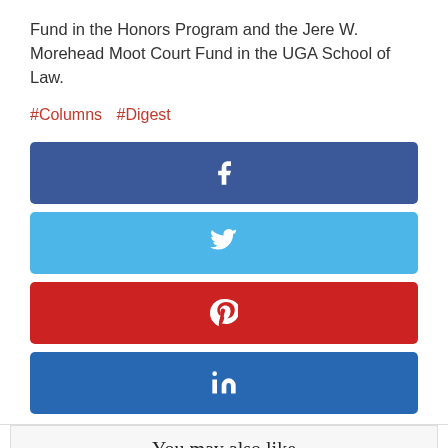Fund in the Honors Program and the Jere W. Morehead Moot Court Fund in the UGA School of Law.
#Columns  #Digest
[Figure (other): Facebook share button (dark blue with 'f' icon)]
[Figure (other): Twitter share button (light blue with bird icon)]
[Figure (other): Pinterest share button (red with 'p' icon)]
[Figure (other): LinkedIn share button (dark blue with 'in' icon)]
You may also like
Georgia Impact
New faculty get a tour of the state